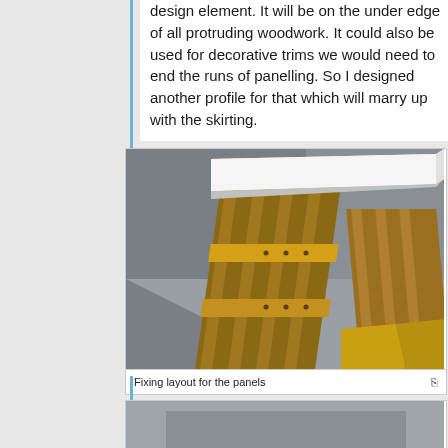design element. It will be on the under edge of all protruding woodwork. It could also be used for decorative trims we would need to end the runs of panelling. So I designed another profile for that which will marry up with the skirting.
[Figure (illustration): 3D CAD rendering of wooden wall panelling with vertical grooved boards, a horizontal batten, and a white top cap/skirting profile. Shows the fixing layout for the panels from an angled perspective view.]
Fixing layout for the panels
[Figure (illustration): Partial view of another 3D CAD illustration related to panel or woodwork design, cut off at bottom of page.]